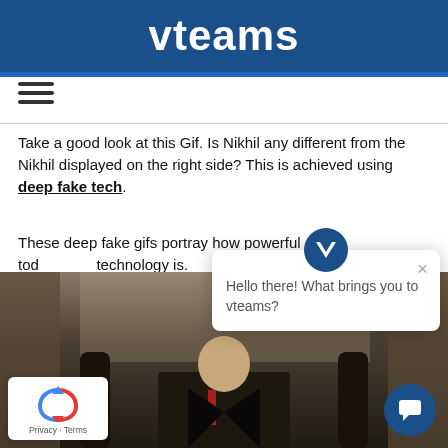vteams
Take a good look at this Gif. Is Nikhil any different from the Nikhil displayed on the right side? This is achieved using deep fake tech.
These deep fake gifs portray how powerful today technology is.
[Figure (photo): A person in a suit sitting in a chair, dark background with curtains]
[Figure (screenshot): Chat popup with vteams logo saying 'Hello there! What brings you to vteams?']
[Figure (logo): reCAPTCHA logo with Privacy - Terms text]